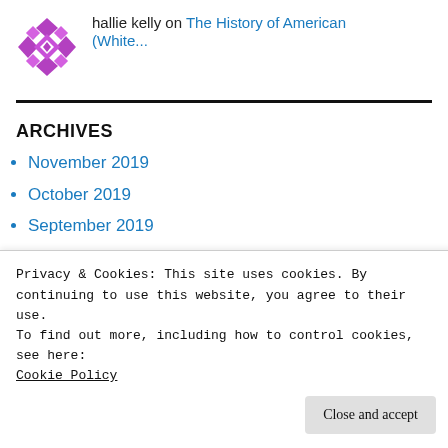hallie kelly on The History of American (White...
ARCHIVES
November 2019
October 2019
September 2019
August 2019
Privacy & Cookies: This site uses cookies. By continuing to use this website, you agree to their use.
To find out more, including how to control cookies, see here:
Cookie Policy